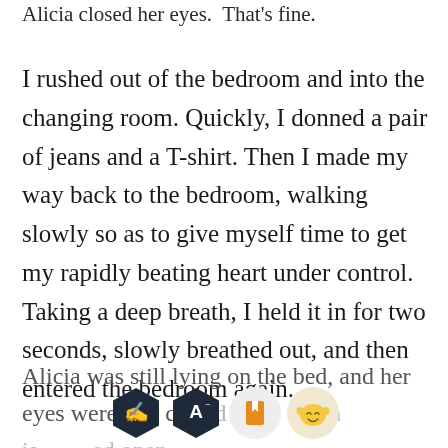Alicia closed her eyes. That's fine.
I rushed out of the bedroom and into the changing room. Quickly, I donned a pair of jeans and a T-shirt. Then I made my way back to the bedroom, walking slowly so as to give myself time to get my rapidly beating heart under control. Taking a deep breath, I held it in for two seconds, slowly breathed out, and then entered the bedroom again.
Alicia was still lying on the bed, and her eyes were still clos... th... is... ed open.